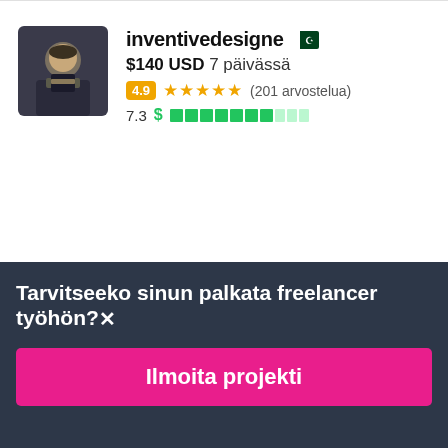[Figure (photo): Profile avatar of inventivedesigne, a man in a suit]
inventivedesigne 🇵🇰
$140 USD 7 päivässä
4.9 ★★★★★ (201 arvostelua)
7.3  [score bar]
[Figure (photo): Profile avatar of nishthamarwaha, a woman with long dark hair]
nishthamarwaha 🇮🇳
$500 USD 12 päivässä
Tarvitseeko sinun palkata freelancer työhön?✕
Ilmoita projekti